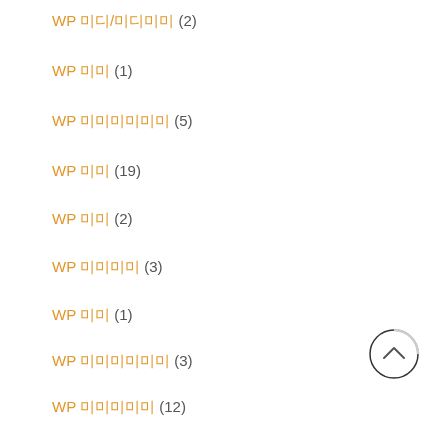WP 미디/미디미미 (2)
WP 미미 (1)
WP 미미미미미미 (5)
WP 미미 (19)
WP 미미 (2)
WP 미미미미 (3)
WP 미미 (1)
WP 미미미미미미 (3)
WP 미미미미미 (12)
미미미미 (4)
미미미미미미 (2)
미미미미미미미미미미 (2)